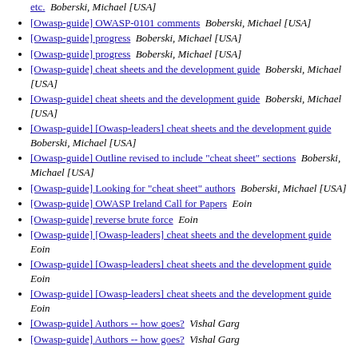etc.  Boberski, Michael [USA]
[Owasp-guide] OWASP-0101 comments   Boberski, Michael [USA]
[Owasp-guide] progress   Boberski, Michael [USA]
[Owasp-guide] progress   Boberski, Michael [USA]
[Owasp-guide] cheat sheets and the development guide   Boberski, Michael [USA]
[Owasp-guide] cheat sheets and the development guide   Boberski, Michael [USA]
[Owasp-guide] [Owasp-leaders] cheat sheets and the development guide   Boberski, Michael [USA]
[Owasp-guide] Outline revised to include "cheat sheet" sections   Boberski, Michael [USA]
[Owasp-guide] Looking for "cheat sheet" authors   Boberski, Michael [USA]
[Owasp-guide] OWASP Ireland Call for Papers   Eoin
[Owasp-guide] reverse brute force   Eoin
[Owasp-guide] [Owasp-leaders] cheat sheets and the development guide   Eoin
[Owasp-guide] [Owasp-leaders] cheat sheets and the development guide   Eoin
[Owasp-guide] [Owasp-leaders] cheat sheets and the development guide   Eoin
[Owasp-guide] Authors -- how goes?   Vishal Garg
[Owasp-guide] Authors -- how goes?   Vishal Garg